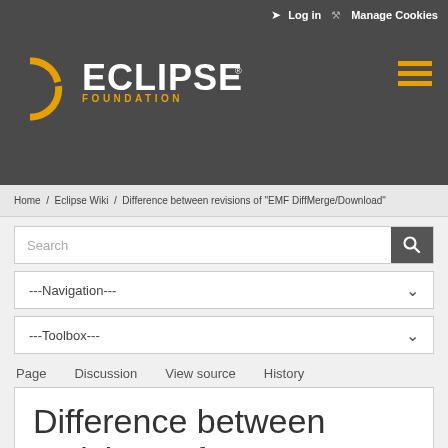Log in   Manage Cookies
[Figure (logo): Eclipse Foundation logo with crescent moon arc and ECLIPSE FOUNDATION text]
Home / Eclipse Wiki / Difference between revisions of "EMF DiffMerge/Download"
Search
---Navigation---
---Toolbox---
Page   Discussion   View source   History
Difference between revisions of "EMF